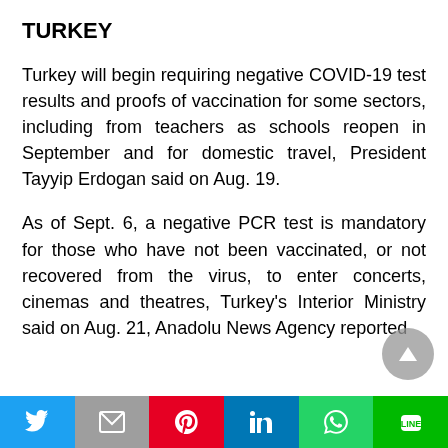TURKEY
Turkey will begin requiring negative COVID-19 test results and proofs of vaccination for some sectors, including from teachers as schools reopen in September and for domestic travel, President Tayyip Erdogan said on Aug. 19.
As of Sept. 6, a negative PCR test is mandatory for those who have not been vaccinated, or not recovered from the virus, to enter concerts, cinemas and theatres, Turkey's Interior Ministry said on Aug. 21, Anadolu News Agency reported